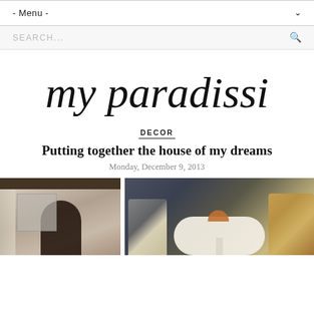- Menu -
SEARCH...
[Figure (logo): my paradissi script logo in handwritten cursive font]
DECOR
Putting together the house of my dreams
Monday, December 9, 2013
[Figure (photo): Two interior design photos side by side: left shows a room with dark wood ceiling beam and white arch doorway; right shows a dining area with a round white tulip table, mid-century modern chairs including cane chairs and chrome chairs, and a dark wall backdrop.]